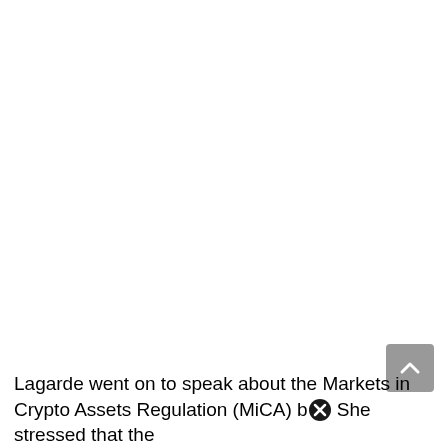Lagarde went on to speak about the Markets in Crypto Assets Regulation (MiCA) b[x] She stressed that the